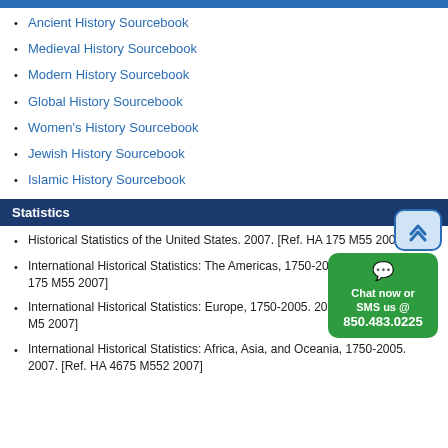Ancient History Sourcebook
Medieval History Sourcebook
Modern History Sourcebook
Global History Sourcebook
Women's History Sourcebook
Jewish History Sourcebook
Islamic History Sourcebook
Statistics
Historical Statistics of the United States. 2007. [Ref. HA 175 M55 2007]
International Historical Statistics: The Americas, 1750-2005. 2007. [Ref. HA 175 M55 2007]
International Historical Statistics: Europe, 1750-2005. 2007. [Ref. HA 1107 M5 2007]
International Historical Statistics: Africa, Asia, and Oceania, 1750-2005. 2007. [Ref. HA 4675 M552 2007]